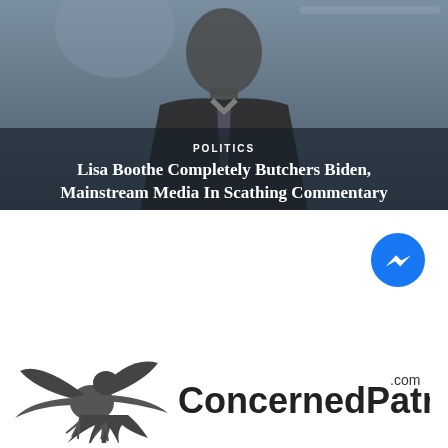[Figure (photo): A man in a dark suit and tie at a press conference or official setting, with a blue/grey background. A dark semi-transparent overlay covers the lower portion of the image with the article category and title overlaid.]
Lisa Boothe Completely Butchers Biden, Mainstream Media In Scathing Commentary
[Figure (logo): Facebook Messenger icon — blue circle with white lightning bolt/chat arrow symbol]
[Figure (logo): ConcernedPatriot.com logo — grey eagle/hawk graphic on the left with 'ConcernedPatriot' text and '.com' superscript in dark grey/black]